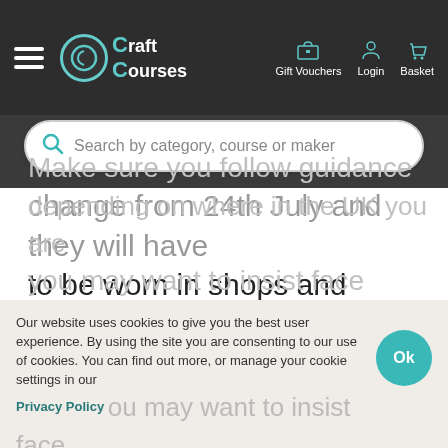Craft Courses — Gift Vouchers, Login, Basket navigation bar
Search by category, course or maker
change from 24th July and they will have to be worn in shops and supermarkets. All of this may well change in the coming weeks so you need to ensure you keep up to date with this advice.
Make sure you follow guidance... depending on where in the UK you are... you may want to insist face...
Our website uses cookies to give you the best user experience. By using the site you are consenting to our use of cookies. You can find out more, or manage your cookie settings in our Privacy Policy